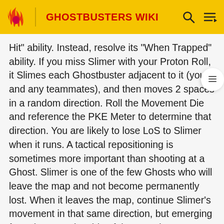GHOSTBUSTERS WIKI
Hit" ability. Instead, resolve its "When Trapped" ability. If you miss Slimer with your Proton Roll, it Slimes each Ghostbuster adjacent to it (you and any teammates), and then moves 2 spaces in a random direction. Roll the Movement Die and reference the PKE Meter to determine that direction. You are likely to lose LoS to Slimer when it runs. A tactical repositioning is sometimes more important than shooting at a Ghost. Slimer is one of the few Ghosts who will leave the map and not become permanently lost. When it leaves the map, continue Slimer's movement in that same direction, but emerging from the opposite side of the map, in a wrap-around style.[10]
Ghostbusters (Beginner mobile game)